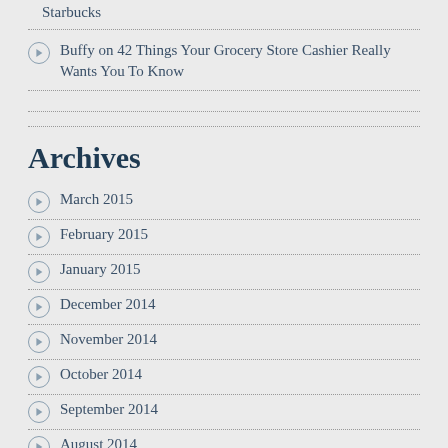Starbucks
Buffy on 42 Things Your Grocery Store Cashier Really Wants You To Know
Archives
March 2015
February 2015
January 2015
December 2014
November 2014
October 2014
September 2014
August 2014